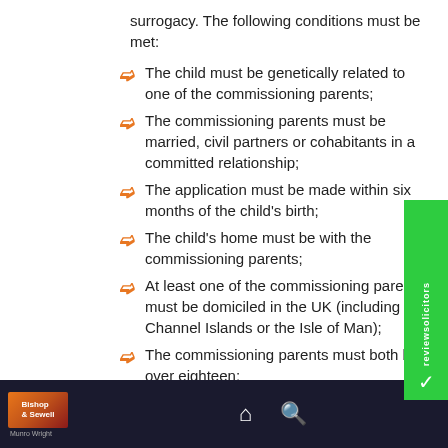surrogacy. The following conditions must be met:
The child must be genetically related to one of the commissioning parents;
The commissioning parents must be married, civil partners or cohabitants in a committed relationship;
The application must be made within six months of the child's birth;
The child's home must be with the commissioning parents;
At least one of the commissioning parents must be domiciled in the UK (including the Channel Islands or the Isle of Man);
The commissioning parents must both be over eighteen;
Bishop & Sewell | Munro Wright